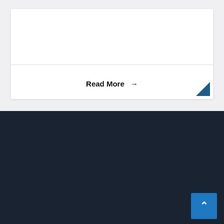Read More →
OATS HELPS
Bridge The Gap Between Complex Financial Reporting Requirements & The Professionals Who Handle Them